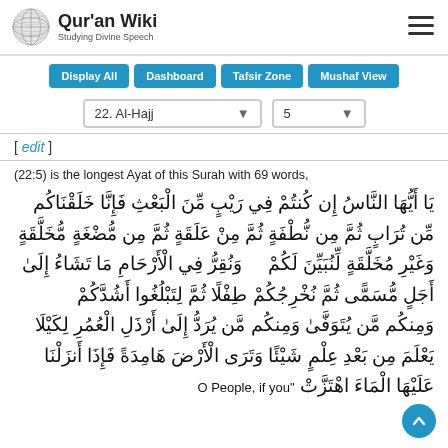Qur'an Wiki — Studying Divine Speech
Display All
Dashboard
Tafsir Zone
Mushaf View
22. Al-Hajj  [dropdown]   5  [dropdown]
[ edit ]
(22:5) is the longest Ayat of this Surah with 69 words,
يَا أَيُّهَا النَّاسُ إِن كُنتُمْ فِي رَيْبٍ مِّنَ الْبَعْثِ فَإِنَّا خَلَقْنَاكُم مِّن تُرَابٍ ثُمَّ مِن نُّطْفَةٍ ثُمَّ مِنْ عَلَقَةٍ ثُمَّ مِن مُّضْغَةٍ مُّخَلَّقَةٍ وَغَيْرِ مُخَلَّقَةٍ لِّنُبَيِّنَ لَكُمْ ۚ وَنُقِرُّ فِي الْأَرْحَامِ مَا نَشَاءُ إِلَىٰ أَجَلٍ مُّسَمًّى ثُمَّ نُخْرِجُكُمْ طِفْلًا ثُمَّ لِتَبْلُغُوا أَشُدَّكُمْ ۖ وَمِنكُم مَّن يُتَوَفَّىٰ وَمِنكُم مَّن يُرَدُّ إِلَىٰ أَرْذَلِ الْعُمُرِ لِكَيْلَا يَعْلَمَ مِن بَعْدِ عِلْمٍ شَيْئًا ۚ وَتَرَى الْأَرْضَ هَامِدَةً فَإِذَا أَنزَلْنَا عَلَيْهَا الْمَاءَ اهْتَزَّتْ وَرَبَتْ وَأَنبَتَتْ مِن كُلِّ زَوْجٍ بَهِيج "O People, if you